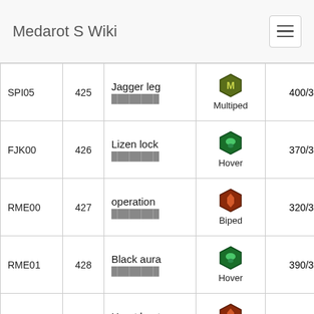Medarot S Wiki
| Code | # | Name | Type | Stat1 | Stat2 |
| --- | --- | --- | --- | --- | --- |
| SPI05 | 425 | Jagger leg / ████████ | Multiped | 400/3499 | 693/1649 |
| FJK00 | 426 | Lizen lock / ████████ | Hover | 370/3349 | 218/541 |
| RME00 | 427 | operation / ████████ | Biped | 320/3099 | 323/786 |
| RME01 | 428 | Black aura / ████████ | Hover | 390/3449 | 530/1269 |
| RME02 | 429 | Heart boots / █████ | Biped | 330/3149 | 240/592 |